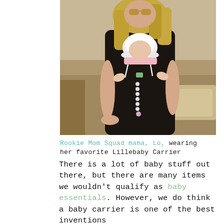[Figure (photo): A woman wearing sunglasses and a black baby carrier (Lillebaby) holding a baby in a white bonnet with pink trim and white ribbon ties. The woman has long blonde hair and is sitting outdoors in bright sunlight. The baby is facing forward in the carrier.]
Rookie Mom Squad mama, Lo, wearing her favorite Lillebaby Carrier
There is a lot of baby stuff out there, but there are many items we wouldn't qualify as baby essentials. However, we do think a baby carrier is one of the best inventions